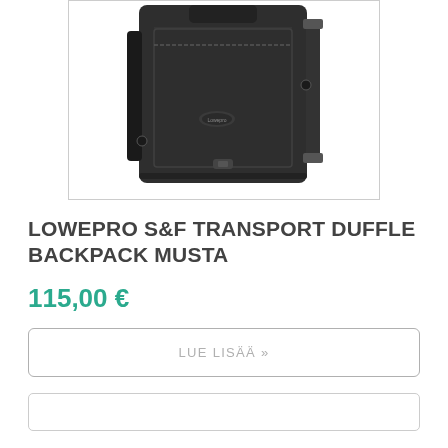[Figure (photo): Black Lowepro S&F Transport Duffle Backpack shown from front angle, with backpack straps visible on the right side and a small logo on the front]
LOWEPRO S&F TRANSPORT DUFFLE BACKPACK MUSTA
115,00 €
LUE LISÄÄ »